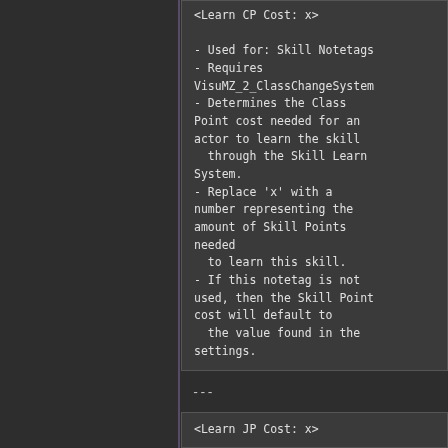<Learn CP Cost: x>

- Used for: Skill Notetags
- Requires VisuMZ_2_ClassChangeSystem
- Determines the Class Point cost needed for an actor to learn the skill
   through the Skill Learn System.
- Replace 'x' with a number representing the amount of Skill Points needed
   to learn this skill.
- If this notetag is not used, then the Skill Point cost will default to
   the value found in the settings.
---
<Learn JP Cost: x>